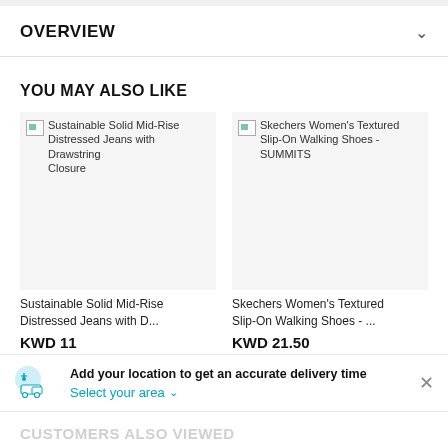OVERVIEW
YOU MAY ALSO LIKE
[Figure (screenshot): Product card for Sustainable Solid Mid-Rise Distressed Jeans with Drawstring Closure showing broken image placeholder and product name text]
[Figure (screenshot): Product card for Skechers Women's Textured Slip-On Walking Shoes - SUMMITS showing broken image placeholder and product name text]
Sustainable Solid Mid-Rise Distressed Jeans with D...
KWD 11
Skechers Women's Textured Slip-On Walking Shoes - ...
KWD 21.50
Add your location to get an accurate delivery time
Select your area
CUSTOMERS ALSO VIEWED